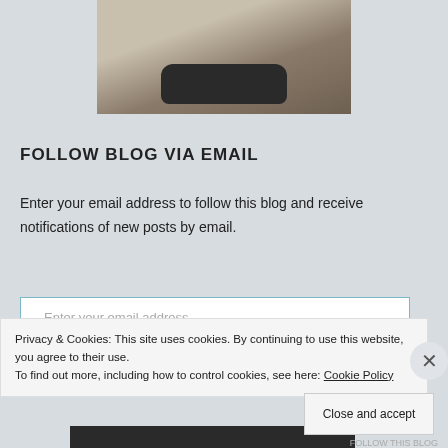[Figure (photo): A person holding binoculars, wearing a tan/khaki shirt. Cropped to show torso and hands holding binoculars.]
FOLLOW BLOG VIA EMAIL
Enter your email address to follow this blog and receive notifications of new posts by email.
Enter your email address
Privacy & Cookies: This site uses cookies. By continuing to use this website, you agree to their use.
To find out more, including how to control cookies, see here: Cookie Policy
Close and accept